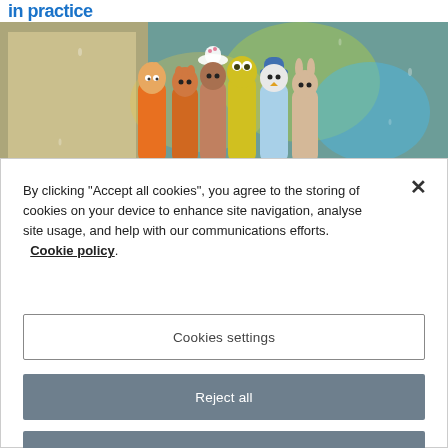in practice
[Figure (photo): Colorful wooden animal figurines (cat, fox, dog, frog, bird/penguin, rabbit) lined up against a rainy, blurred window background, with some paper craft items on the left.]
By clicking “Accept all cookies”, you agree to the storing of cookies on your device to enhance site navigation, analyse site usage, and help with our communications efforts. Cookie policy.
Cookies settings
Reject all
Accept all cookies